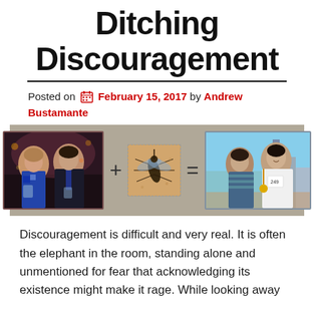Ditching Discouragement
Posted on  February 15, 2017 by Andrew Bustamante
[Figure (photo): Composite image: couple at formal event (left) + mosquito macro photo (center) + couple at marathon finish line (right), connected by + and = signs]
Discouragement is difficult and very real. It is often the elephant in the room, standing alone and unmentioned for fear that acknowledging its existence might make it rage. While looking away